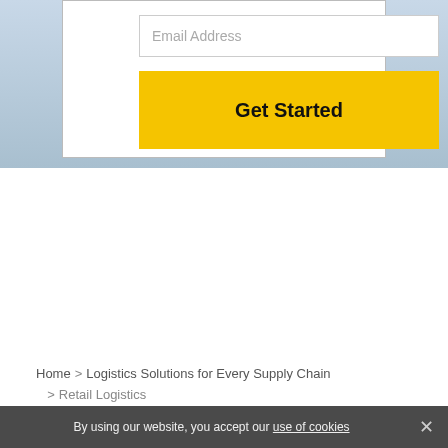[Figure (screenshot): Hero section with blue-grey background containing a white form card with an Email Address input field and a yellow Get Started button]
Email Address
Get Started
Home > Logistics Solutions for Every Supply Chain > Retail Logistics
Retail Shipping Solutions: Navigating OTIF, Omni-Channel and More
By using our website, you accept our use of cookies ×